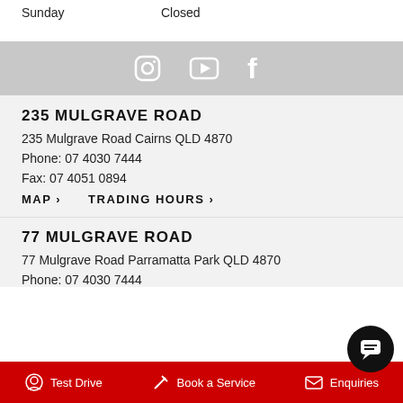| Day | Hours |
| --- | --- |
| Sunday | Closed |
[Figure (infographic): Social media icons bar: Instagram, YouTube, Facebook]
235 MULGRAVE ROAD
235 Mulgrave Road Cairns QLD 4870
Phone: 07 4030 7444
Fax: 07 4051 0894
MAP › TRADING HOURS ›
77 MULGRAVE ROAD
77 Mulgrave Road Parramatta Park QLD 4870
Phone: 07 4030 7444
Test Drive   Book a Service   Enquiries